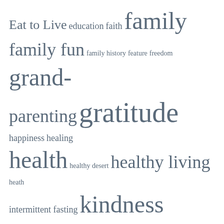[Figure (infographic): Word cloud featuring tags/topics in varying font sizes. Words include: Eat to Live, education, faith, family, family fun, family history, feature, freedom, grand-parenting, gratitude, happiness, healing, health, healthy desert, healthy living, heath, intermittent fasting, kindness, kindness matters, lds, letgoletgod, life skills, love, make it real, menu, missionary, motivation, parenting, peace, personal power, plant based diet, positive thinking, prayer, prayer journey, product endorsement, rant, recipe, religion, satifaction, scriptures, service, singing, soap box, soup, teaching drama, teaching youth, and others.]